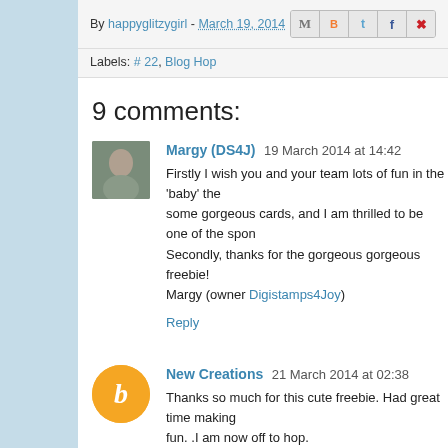By happyglitzygirl - March 19, 2014
Labels: # 22, Blog Hop
9 comments:
Margy (DS4J) 19 March 2014 at 14:42
Firstly I wish you and your team lots of fun in the 'baby' the some gorgeous cards, and I am thrilled to be one of the spon Secondly, thanks for the gorgeous gorgeous freebie! Margy (owner Digistamps4Joy)
Reply
New Creations 21 March 2014 at 02:38
Thanks so much for this cute freebie. Had great time making fun. .I am now off to hop.
Reply
New Creations 21 March 2014 at 04:09